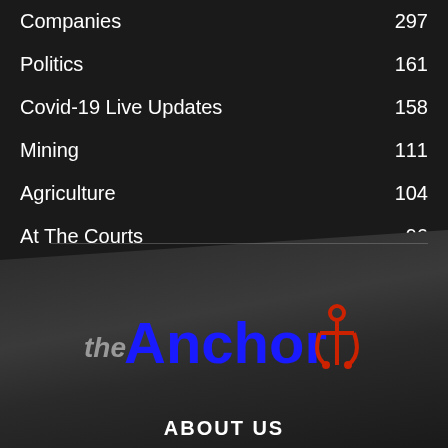Companies    297
Politics    161
Covid-19 Live Updates    158
Mining    111
Agriculture    104
At The Courts    96
[Figure (logo): The Anchor logo with 'the' in italic gray, 'Anchor' in bold blue, and a red anchor icon]
ABOUT US